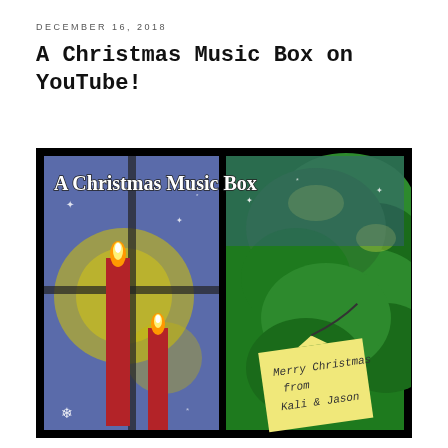DECEMBER 16, 2018
A Christmas Music Box on YouTube!
[Figure (illustration): Illustration for 'A Christmas Music Box' album art. Left panel: two red candles with glowing yellow flames against a purple-blue starry night background with snowflakes and a bright yellow halo glow. Right panel: green Christmas tree branches against a night sky, with a yellow gift tag reading 'Merry Christmas from Kali & Jason'. Text at top reads 'A Christmas Music Box' in white gothic font. Overall background is black.]